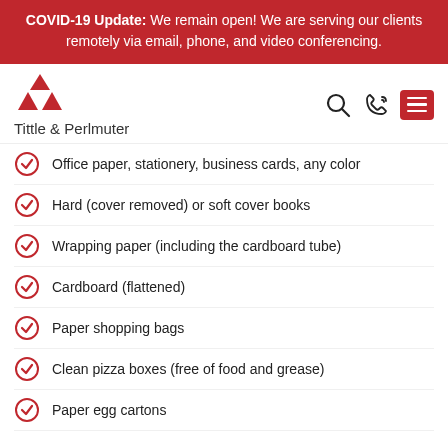COVID-19 Update: We remain open! We are serving our clients remotely via email, phone, and video conferencing.
[Figure (logo): Tittle & Perlmuter law firm logo with red triangle icon and navigation icons (search, phone, menu)]
Office paper, stationery, business cards, any color
Hard (cover removed) or soft cover books
Wrapping paper (including the cardboard tube)
Cardboard (flattened)
Paper shopping bags
Clean pizza boxes (free of food and grease)
Paper egg cartons
3. Recycle Plastic Bottles and Jugs